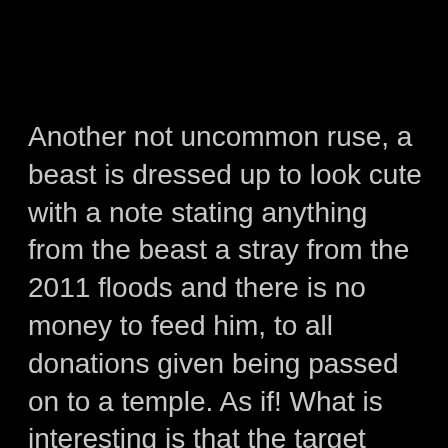Another not uncommon ruse, a beast is dressed up to look cute with a note stating anything from the beast a stray from the 2011 floods and there is no money to feed him, to all donations given being passed on to a temple. As if! What is interesting is that the target market is Thais – note how the sign is in Thai and yes, the Thais give generously!